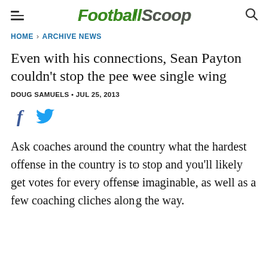FootballScoop
HOME › ARCHIVE NEWS
Even with his connections, Sean Payton couldn't stop the pee wee single wing
DOUG SAMUELS • JUL 25, 2013
[Figure (other): Social sharing icons: Facebook and Twitter]
Ask coaches around the country what the hardest offense in the country is to stop and you'll likely get votes for every offense imaginable, as well as a few coaching cliches along the way.